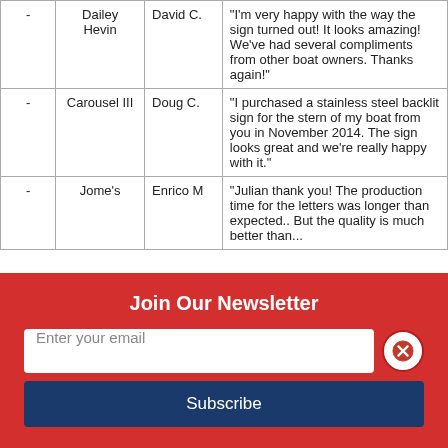| Rating | Boat | Name | Review |
| --- | --- | --- | --- |
| - | Dailey Hevin | David C. | "I'm very happy with the way the sign turned out! It looks amazing! We've had several compliments from other boat owners. Thanks again!" |
| - | Carousel III | Doug C. | "I purchased a stainless steel backlit sign for the stern of my boat from you in November 2014. The sign looks great and we're really happy with it." |
| - | Jome's | Enrico M | "Julian thank you! The production time for the letters was longer than expected.. But the quality is much better than..." |
Join Our Newsletter
Enter your email
Subscribe